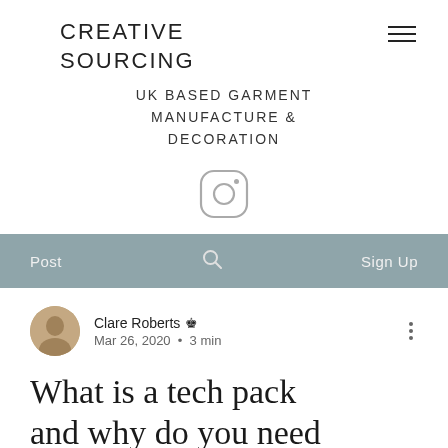CREATIVE SOURCING
UK BASED GARMENT MANUFACTURE & DECORATION
[Figure (logo): Instagram icon — rounded square with camera outline in grey]
Post  🔍  Sign Up
Clare Roberts ♛
Mar 26, 2020 · 3 min
What is a tech pack and why do you need